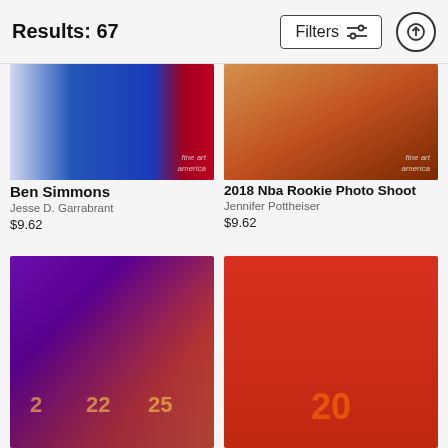Results: 67
Filters
[Figure (photo): NBA photo of Ben Simmons in blue jersey, red/blue background, with Fine Art America watermark]
[Figure (photo): 2018 NBA Rookie Photo Shoot, basketball court background with orange/brown tones, Fine Art America watermark]
Ben Simmons
Jesse D. Garrabrant
$9.62
2018 Nba Rookie Photo Shoot
Jennifer Pottheiser
$9.62
[Figure (photo): Three Phoenix Suns players in purple jerseys numbered 2, 22, 25 against purple and red background]
[Figure (photo): New York Knicks player in white jersey number 20 holding basketball against red background]